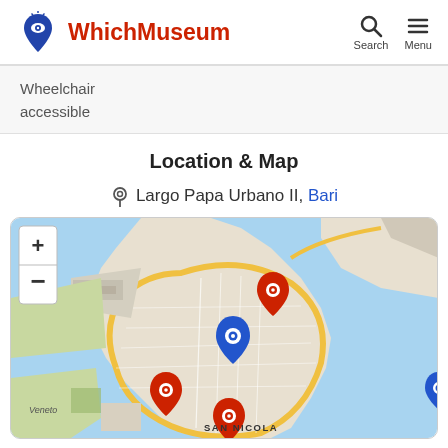WhichMuseum — Search, Menu
Wheelchair accessible
Location & Map
Largo Papa Urbano II, Bari
[Figure (map): Interactive map showing the location of a museum near Largo Papa Urbano II in Bari, Italy. The map shows the coastal area with several red and one blue map pin markers. Zoom in (+) and zoom out (-) controls are visible. The SAN NICOLA neighborhood label and 'Veneto' street label are visible at the bottom.]